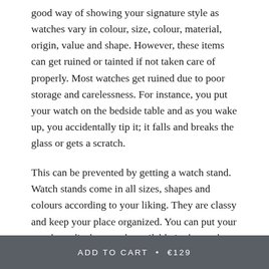good way of showing your signature style as watches vary in colour, size, colour, material, origin, value and shape. However, these items can get ruined or tainted if not taken care of properly. Most watches get ruined due to poor storage and carelessness. For instance, you put your watch on the bedside table and as you wake up, you accidentally tip it; it falls and breaks the glass or gets a scratch.
This can be prevented by getting a watch stand. Watch stands come in all sizes, shapes and colours according to your liking. They are classy and keep your place organized. You can put your watch on display stands available in the market to avoid such accidents. Some people have a whole collection of watches that remains in their cabinets and shelves where there is plenty of dust and at risk of scratches. In this article, you will learn tips on how to take care of your watch to keep them in mint condition.
ADD TO CART • €129